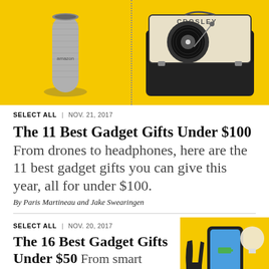[Figure (photo): Yellow background with Amazon Echo device on left (gray fabric cylinder) and Crosley portable turntable record player on right, separated by a dotted vertical line.]
SELECT ALL | NOV. 21, 2017
The 11 Best Gadget Gifts Under $100 From drones to headphones, here are the 11 best gadget gifts you can give this year, all for under $100.
By Paris Martineau and Jake Swearingen
SELECT ALL | NOV. 20, 2017
The 16 Best Gadget Gifts Under $50 From smart assistants to phone cases, here are the 16 best gadget gifts you can give this year, all for under $50.
[Figure (photo): Yellow background with phone charging device, gloves, and Amazon Echo Dot visible on right side of second article.]